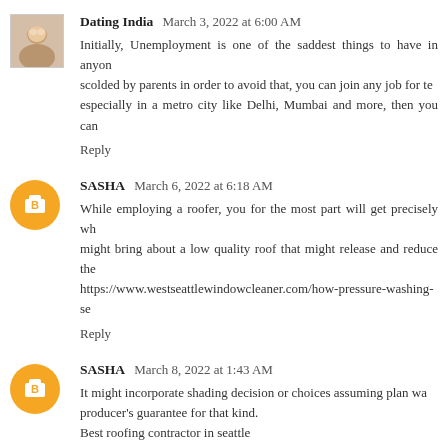[Figure (photo): Avatar photo for Dating India commenter]
Dating India  March 3, 2022 at 6:00 AM
Initially, Unemployment is one of the saddest things to have in anyon... scolded by parents in order to avoid that, you can join any job for te... especially in a metro city like Delhi, Mumbai and more, then you can...
Reply
[Figure (logo): Orange circle Blogger icon for SASHA]
SASHA  March 6, 2022 at 6:18 AM
While employing a roofer, you for the most part will get precisely wh... might bring about a low quality roof that might release and reduce the... https://www.westseattlewindowcleaner.com/how-pressure-washing-se...
Reply
[Figure (logo): Orange circle Blogger icon for SASHA]
SASHA  March 8, 2022 at 1:43 AM
It might incorporate shading decision or choices assuming plan wa... producer's guarantee for that kind.
Best roofing contractor in seattle
Reply